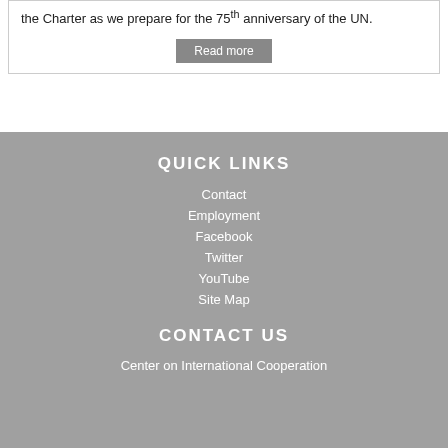the Charter as we prepare for the 75th anniversary of the UN.
Read more
QUICK LINKS
Contact
Employment
Facebook
Twitter
YouTube
Site Map
CONTACT US
Center on International Cooperation